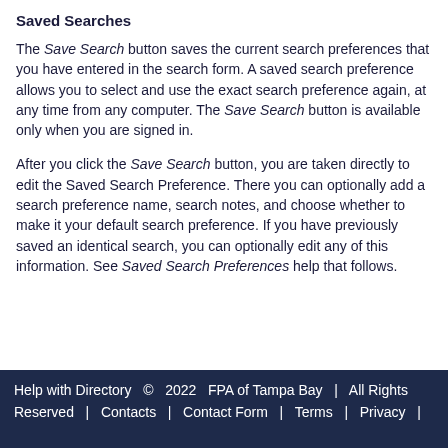Saved Searches
The Save Search button saves the current search preferences that you have entered in the search form. A saved search preference allows you to select and use the exact search preference again, at any time from any computer. The Save Search button is available only when you are signed in.
After you click the Save Search button, you are taken directly to edit the Saved Search Preference. There you can optionally add a search preference name, search notes, and choose whether to make it your default search preference. If you have previously saved an identical search, you can optionally edit any of this information. See Saved Search Preferences help that follows.
Help with Directory  ©  2022  FPA of Tampa Bay  |  All Rights Reserved  |  Contacts  |  Contact Form  |  Terms  |  Privacy  |